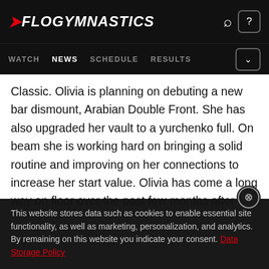FLOGYMNASTICS
WATCH  NEWS  SCHEDULE  RESULTS
Classic. Olivia is planning on debuting a new bar dismount, Arabian Double Front. She has also upgraded her vault to a yurchenko full. On beam she is working hard on bringing a solid routine and improving on her connections to increase her start value. Olivia has come a long way on floor over the past few months after a leg injury earlier in the year. Look for Olivia to play conservative but compete strong as she hopes to qualify
This website stores data such as cookies to enable essential site functionality, as well as marketing, personalization, and analytics. By remaining on this website you indicate your consent. Data Storage Policy